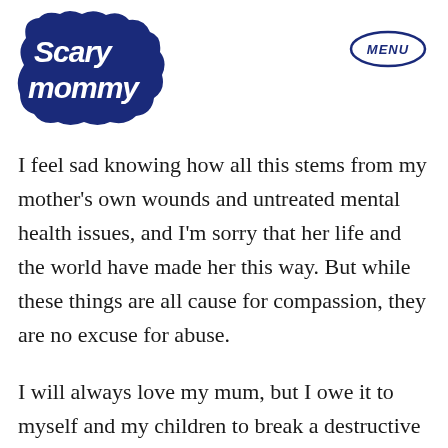[Figure (logo): Scary Mommy logo in dark navy blue bubble letters]
[Figure (other): MENU button in oval border, dark navy blue text]
I feel sad knowing how all this stems from my mother's own wounds and untreated mental health issues, and I'm sorry that her life and the world have made her this way. But while these things are all cause for compassion, they are no excuse for abuse.
I will always love my mum, but I owe it to myself and my children to break a destructive cycle which spans generations, and to choose truth and self love instead.